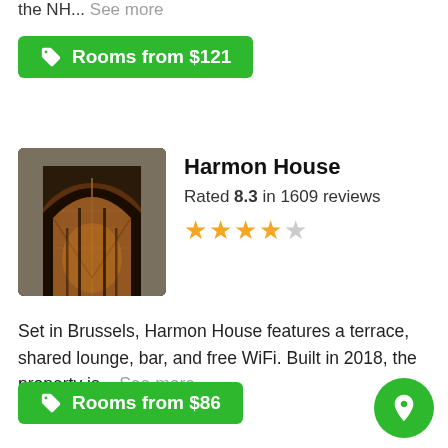the NH… See more
Rooms from $121
Harmon House
Rated 8.3 in 1609 reviews
[Figure (photo): Hotel entrance with ornate iron and glass arched doorway lit warmly at night]
Set in Brussels, Harmon House features a terrace, shared lounge, bar, and free WiFi. Built in 2018, the property is… See more
Rooms from $86